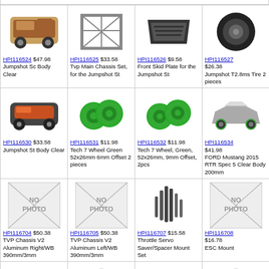| HPI116524 $47.98 Jumpshot Sc Body Clear | HPI116525 $33.58 Tvp Main Chassis Set, for the Jumpshot St | HPI116526 $9.58 Front Skid Plate for the Jumpshot St | HPI116527 $26.38 Jumpshot T2.8ms Tire 2 pieces |
| HPI116530 $33.58 Jumpshot St Body Clear | HPI116531 $11.98 Tech 7 Wheel Green 52x26mm 6mm Offset 2 pieces | HPI116532 $11.98 Tech 7 Wheel, Green, 52x26mm, 9mm Offset, 2pcs | HPI116534 $41.98 FORD Mustang 2015 RTR Spec 5 Clear Body 200mm |
| HPI116704 $50.38 TVP Chassis V2 Aluminum Right/WB 390mm/3mm | HPI116705 $50.38 TVP Chassis V2 Aluminum Left/WB 390mm/3mm | HPI116707 $15.58 Throttle Servo Saver/Spacer Mount Set | HPI116708 $16.78 ESC Mount |
| HPI116719 $17.98 Q32 Formula 1 | HPI116736 $21.58 6-Shot Jumpshot St Wheel | HPI116738 $15.58 6-Shot Jumpshot St | HPI116739 $21.58 8-Shot Jumpshot |